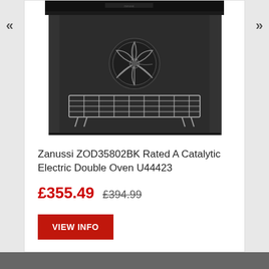[Figure (photo): Zanussi electric double oven interior view showing oven cavity with wire rack and fan, black exterior, product image for e-commerce listing]
Zanussi ZOD35802BK Rated A Catalytic Electric Double Oven U44423
£355.49  £394.99
VIEW INFO